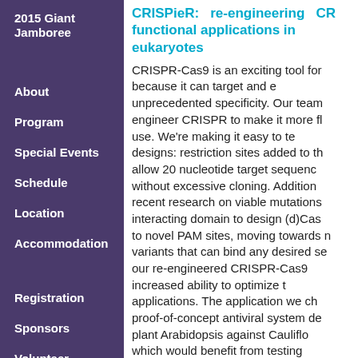2015 Giant Jamboree
About
Program
Special Events
Schedule
Location
Accommodation
Registration
Sponsors
Volunteer
CRISPieR: re-engineering CR functional applications in eukaryotes
CRISPR-Cas9 is an exciting tool for because it can target and e unprecedented specificity. Our team engineer CRISPR to make it more f use. We're making it easy to te designs: restriction sites added to th allow 20 nucleotide target sequenc without excessive cloning. Addition recent research on viable mutations interacting domain to design (d)Cas to novel PAM sites, moving towards r variants that can bind any desired se our re-engineered CRISPR-Cas9 increased ability to optimize t applications. The application we ch proof-of-concept antiviral system de plant Arabidopsis against Cauliflo which would benefit from testing possible sgRNAs in the viral genome